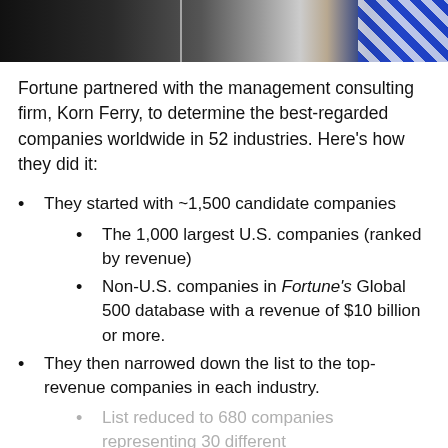[Figure (photo): Photo strip showing a dark dramatic scene on the left and a blue/white checkered pattern on the right]
Fortune partnered with the management consulting firm, Korn Ferry, to determine the best-regarded companies worldwide in 52 industries. Here’s how they did it:
They started with ~1,500 candidate companies
The 1,000 largest U.S. companies (ranked by revenue)
Non-U.S. companies in Fortune’s Global 500 database with a revenue of $10 billion or more.
They then narrowed down the list to the top-revenue companies in each industry.
List reduced to 680 companies representing 30 different